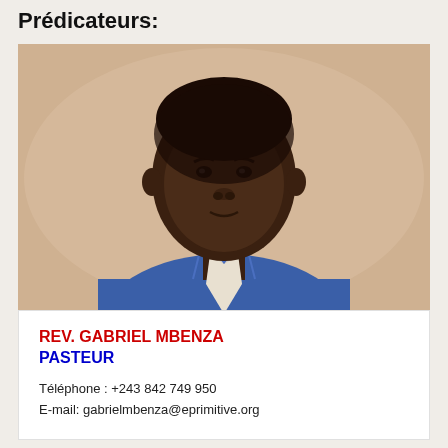Prédicateurs:
[Figure (photo): Portrait photograph of Rev. Gabriel Mbenza, a man wearing a blue dress shirt and white tie, against a light beige background.]
REV. GABRIEL MBENZA
PASTEUR
Téléphone : +243 842 749 950
E-mail: gabrielmbenza@eprimitive.org